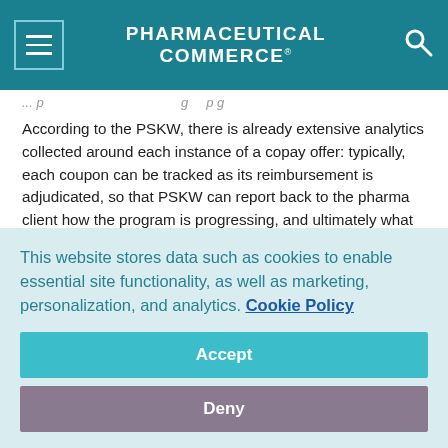PHARMACEUTICAL COMMERCE
According to the PSKW, there is already extensive analytics collected around each instance of a copay offer: typically, each coupon can be tracked as its reimbursement is adjudicated, so that PSKW can report back to the pharma client how the program is progressing, and ultimately what effect it is having on overall marketing levels. More advanced analytics can look into the effects of copay assistance on medication adherence programs.
According to Peter Shaw, MD, president of MD Mindset, his
This website stores data such as cookies to enable essential site functionality, as well as marketing, personalization, and analytics. Cookie Policy
Accept
Deny